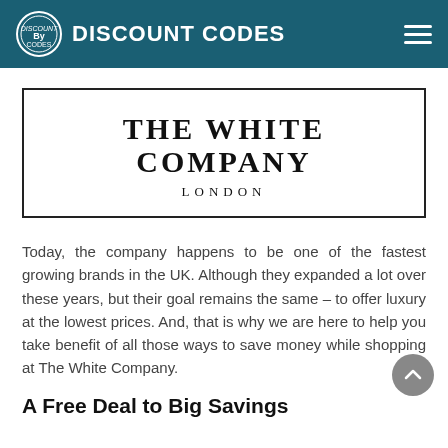DISCOUNT CODES
[Figure (logo): The White Company London brand logo — black bordered rectangle with large serif text 'THE WHITE COMPANY' and 'LONDON' below]
Today, the company happens to be one of the fastest growing brands in the UK. Although they expanded a lot over these years, but their goal remains the same – to offer luxury at the lowest prices. And, that is why we are here to help you take benefit of all those ways to save money while shopping at The White Company.
A Free Deal to Big Savings